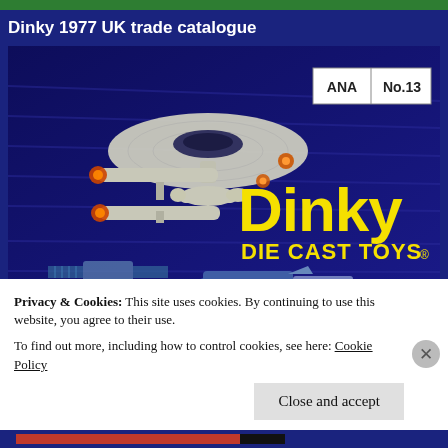[Figure (other): Thin green decorative strip at top of page]
Dinky 1977 UK trade catalogue
[Figure (photo): Cover of Dinky Die Cast Toys 1977 UK trade catalogue No. 13 showing USS Enterprise spaceship and other vehicles on dark blue/purple background with large yellow 'Dinky DIE CAST TOYS' text]
Privacy & Cookies: This site uses cookies. By continuing to use this website, you agree to their use.
To find out more, including how to control cookies, see here: Cookie Policy
Close and accept